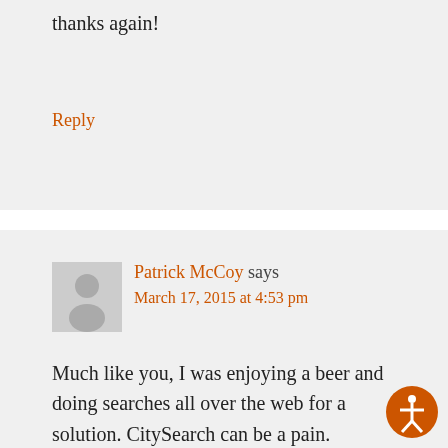thanks again!
Reply
Patrick McCoy says
March 17, 2015 at 4:53 pm
Much like you, I was enjoying a beer and doing searches all over the web for a solution. CitySearch can be a pain. However, this solution is exactly what I needed for my clients. We work with a big eye doctor group who needed to claim and also edit several